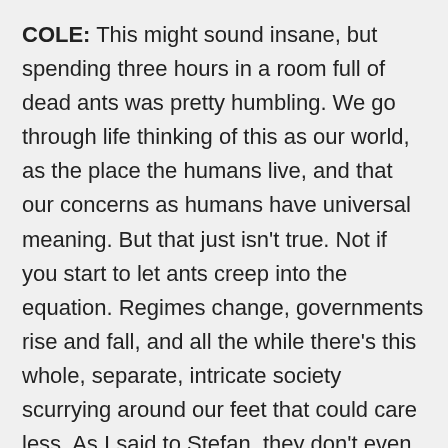COLE: This might sound insane, but spending three hours in a room full of dead ants was pretty humbling. We go through life thinking of this as our world, as the place the humans live, and that our concerns as humans have universal meaning. But that just isn't true. Not if you start to let ants creep into the equation. Regimes change, governments rise and fall, and all the while there's this whole, separate, intricate society scurrying around our feet that could care less. As I said to Stefan, they don't even know we're there.
COVER: No, they don't, but, but, the thing that has to be said is, we don't know that they're there either. See, we think we're so smart. Now here's another great thing about ant collections and insect collections in general. This is an ant that was collected at dinner with Joseph Stalin in 1945 by Professor Harlow Shapoly. He was at